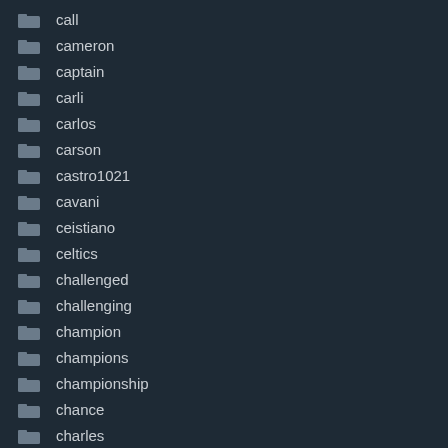call
cameron
captain
carli
carlos
carson
castro1021
cavani
ceistiano
celtics
challenged
challenging
champion
champions
championship
chance
charles
charlotte